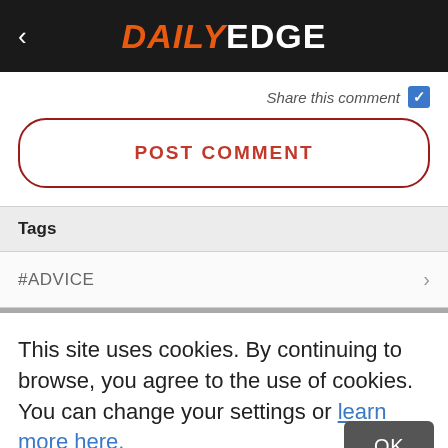DAILY EDGE
Share this comment ✓
POST COMMENT
Tags
#ADVICE
This site uses cookies. By continuing to browse, you agree to the use of cookies. You can change your settings or learn more here.